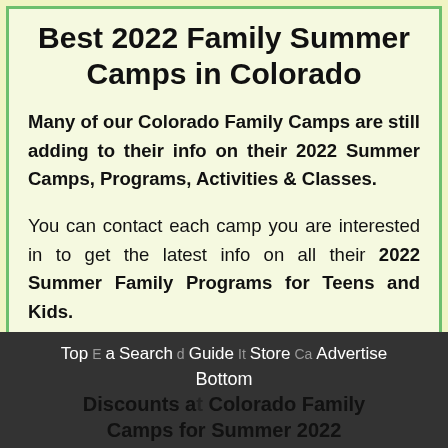Best 2022 Family Summer Camps in Colorado
Many of our Colorado Family Camps are still adding to their info on their 2022 Summer Camps, Programs, Activities & Classes.
You can contact each camp you are interested in to get the latest info on all their 2022 Summer Family Programs for Teens and Kids.
Top  Ea  Search  d  Guide  It  Store  Ca  Advertise  Bottom  Discounts a  Colorado Family  Camps for Summer 2022